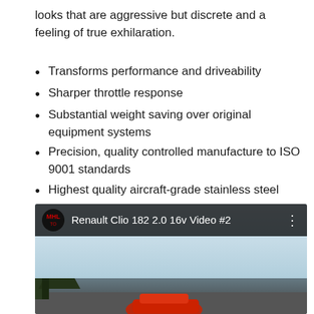looks that are aggressive but discrete and a feeling of true exhilaration.
Transforms performance and driveability
Sharper throttle response
Substantial weight saving over original equipment systems
Precision, quality controlled manufacture to ISO 9001 standards
Highest quality aircraft-grade stainless steel
Low pressure systems for maximum performance - with no loss of low end torque
Responsibly developed and engineered.
Designed and manufactured in the UK
[Figure (screenshot): YouTube video thumbnail showing 'Renault Clio 182 2.0 16v Video #2' with a channel icon on the left, the title in white text, and a three-dot menu on the right. The video scene shows trees and a red car partially visible at the bottom.]